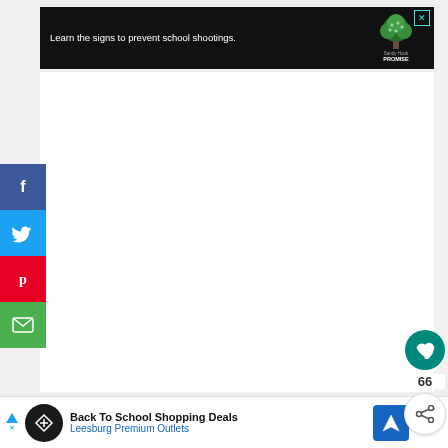[Figure (screenshot): Sandy Hook Promise advertisement banner with dark background. Text reads 'Learn the signs to prevent school shootings.' with Sandy Hook Promise tree logo on the right. Close button (X) in top-right corner.]
[Figure (screenshot): Social media sharing sidebar on the left with Facebook (blue), Twitter (light blue), Pinterest (red), and Email (green) buttons.]
[Figure (screenshot): Right-side action buttons: teal circular heart/like button, count '66', and a share button.]
[Figure (screenshot): Bottom advertisement banner for 'Back To School Shopping Deals' at Leesburg Premium Outlets with circular logo, navigation arrow icon, and WeatherBug watermark.]